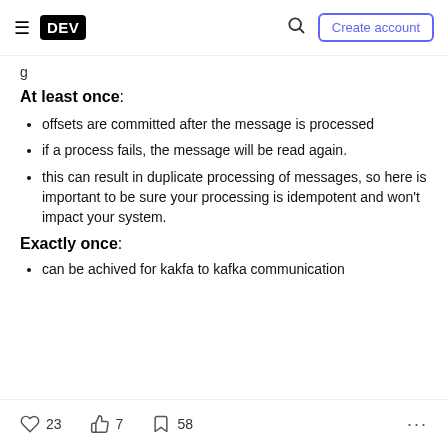DEV — Create account
g
At least once:
offsets are committed after the message is processed
if a process fails, the message will be read again.
this can result in duplicate processing of messages, so here is important to be sure your processing is idempotent and won't impact your system.
Exactly once:
can be achived for kakfa to kafka communication
23 likes  7  58 bookmarks